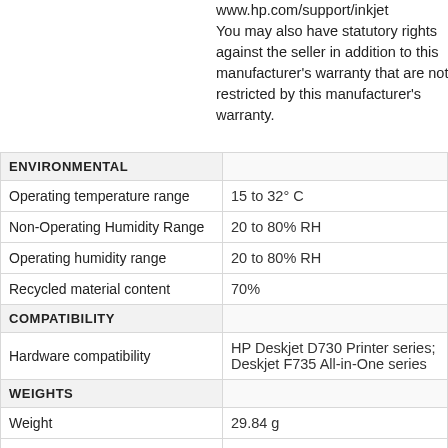www.hp.com/support/inkjet You may also have statutory rights against the seller in addition to this manufacturer's warranty that are not restricted by this manufacturer's warranty.
| Specification | Value |
| --- | --- |
| ENVIRONMENTAL |  |
| Operating temperature range | 15 to 32° C |
| Non-Operating Humidity Range | 20 to 80% RH |
| Operating humidity range | 20 to 80% RH |
| Recycled material content | 70% |
| COMPATIBILITY |  |
| Hardware compatibility | HP Deskjet D730 Printer series; Deskjet F735 All-in-One series |
| WEIGHTS |  |
| Weight | 29.84 g |
| Package weight | 0.06 kg |